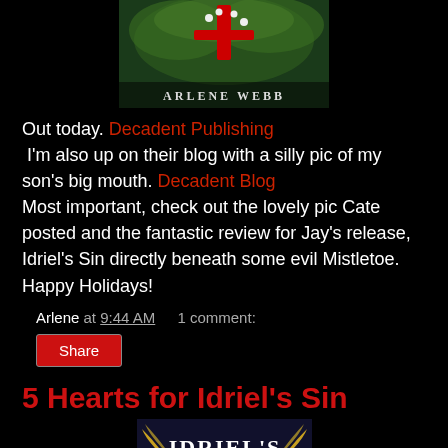[Figure (photo): Book cover image for Arlene Webb showing holiday/mistletoe theme with red ribbon and author name 'ARLENE WEBB' in white letters]
Out today. Decadent Publishing
 I'm also up on their blog with a silly pic of my son's big mouth. Decadent Blog
Most important, check out the lovely pic Cate posted and the fantastic review for Jay's release, Idriel's Sin directly beneath some evil Mistletoe.
Happy Holidays!
Arlene at 9:44 AM    1 comment:
Share
5 Hearts for Idriel's Sin
[Figure (photo): Book cover image for 'Idriel's Sin' showing the title text with wing decorations on a dark background]